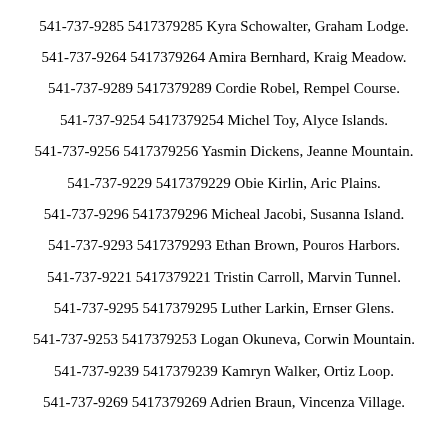541-737-9285 5417379285 Kyra Schowalter, Graham Lodge.
541-737-9264 5417379264 Amira Bernhard, Kraig Meadow.
541-737-9289 5417379289 Cordie Robel, Rempel Course.
541-737-9254 5417379254 Michel Toy, Alyce Islands.
541-737-9256 5417379256 Yasmin Dickens, Jeanne Mountain.
541-737-9229 5417379229 Obie Kirlin, Aric Plains.
541-737-9296 5417379296 Micheal Jacobi, Susanna Island.
541-737-9293 5417379293 Ethan Brown, Pouros Harbors.
541-737-9221 5417379221 Tristin Carroll, Marvin Tunnel.
541-737-9295 5417379295 Luther Larkin, Ernser Glens.
541-737-9253 5417379253 Logan Okuneva, Corwin Mountain.
541-737-9239 5417379239 Kamryn Walker, Ortiz Loop.
541-737-9269 5417379269 Adrien Braun, Vincenza Village.